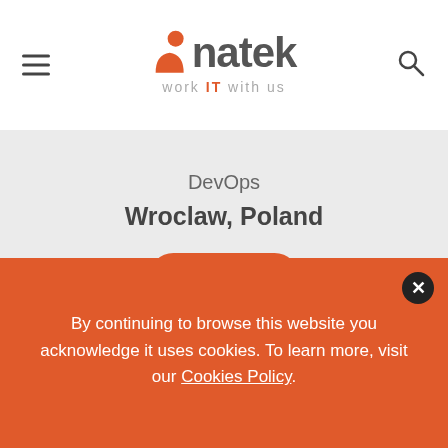natek — work IT with us
DevOps
Wroclaw, Poland
Apply
By continuing to browse this website you acknowledge it uses cookies. To learn more, visit our Cookies Policy.